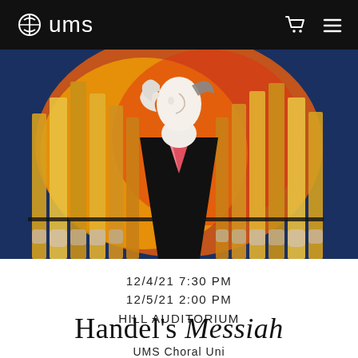ums
[Figure (illustration): Colorful artistic illustration of a robed figure with white hair/face against a background of organ pipes in orange, yellow, red, and blue tones]
12/4/21 7:30 PM
12/5/21 2:00 PM
HILL AUDITORIUM
Handel's Messiah
UMS Choral Union